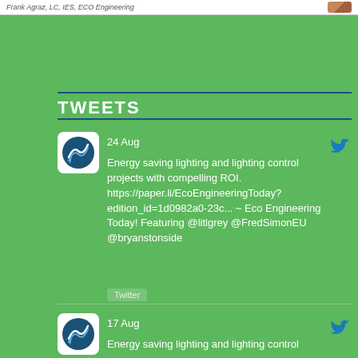Frank Agraz, LC, IES, ECO Engineering
TWEETS
24 Aug
Energy saving lighting and lighting control projects with compelling ROI. https://paper.li/EcoEngineeringToday?edition_id=1d0982a0-23c... ~ Eco Engineering Today! Featuring @litlgrey @FredSimonEU @bryanstonside
Twitter
17 Aug
Energy saving lighting and lighting control